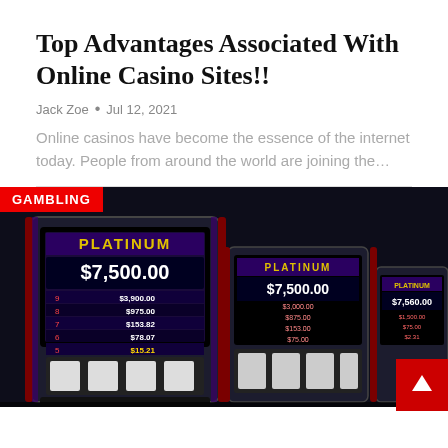Top Advantages Associated With Online Casino Sites!!
Jack Zoe • Jul 12, 2021
Online casinos have become the essence of the internet today. People from around the world are joining the…
[Figure (photo): Photo of slot machines labeled PLATINUM showing jackpot amounts like $7,500.00, $3,900.00, $975.00, $153.82, $78.07, $15.21 with a red GAMBLING badge overlay in the top-left corner and a red arrow button in the bottom-right corner.]